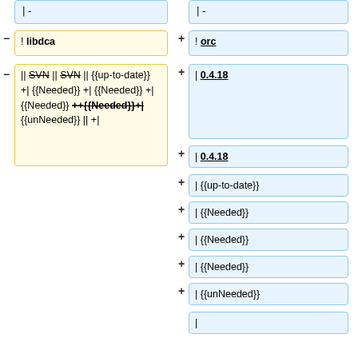|- (left top)
|- (right top)
- ! libdca
+ ! orc
- || SVN || SVN || {{up-to-date}} +| {{Needed}} +| {{Needed}} +| {{Needed}} ++{{Needed}}+| {{unNeeded}} || +|
+ | 0.4.18 (first)
+ | 0.4.18 (second)
+ | {{up-to-date}}
+ | {{Needed}}
+ | {{Needed}}
+ | {{Needed}}
+ | {{unNeeded}}
+ |